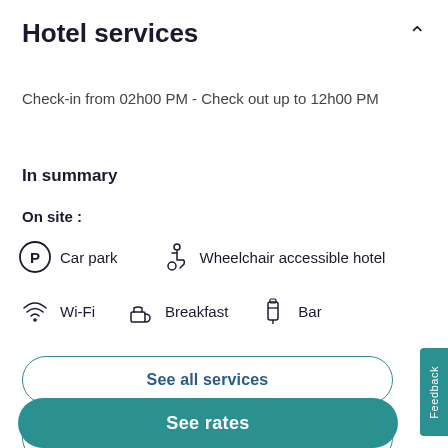Hotel services
Check-in from 02h00 PM - Check out up to 12h00 PM
In summary
On site :
Car park
Wheelchair accessible hotel
Wi-Fi
Breakfast
Bar
See all services
Parking
See rates